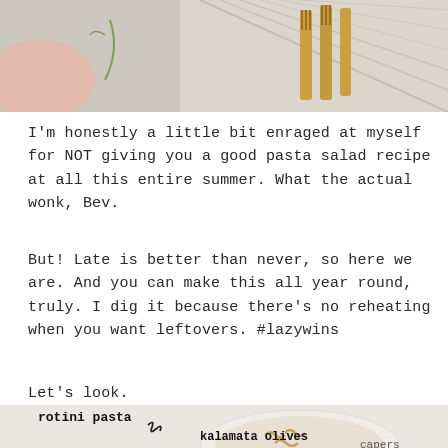[Figure (photo): Top portion of a food blog photo showing wooden forks, a striped cloth napkin on a light background]
I'm honestly a little bit enraged at myself for NOT giving you a good pasta salad recipe at all this entire summer. What the actual wonk, Bev.
But! Late is better than never, so here we are. And you can make this all year round, truly. I dig it because there's no reheating when you want leftovers. #lazywins
Let's look.
[Figure (photo): Bottom portion of a food ingredients flat-lay photo showing: rotini pasta in a bowl labeled 'rotini pasta', kalamata olives in a bowl labeled 'kalamata olives', and partial view of capers label, on a white cloth background]